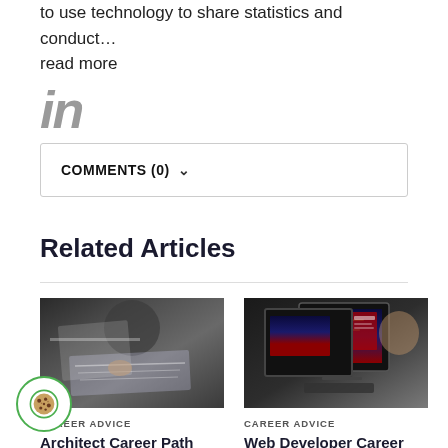to use technology to share statistics and conduct… read more
[Figure (logo): LinkedIn 'in' icon in gray]
COMMENTS (0)
Related Articles
[Figure (photo): Architect working on blueprints at a desk]
CAREER ADVICE
Architect Career Path
[Figure (photo): Web developer looking at a computer monitor with code and website]
CAREER ADVICE
Web Developer Career